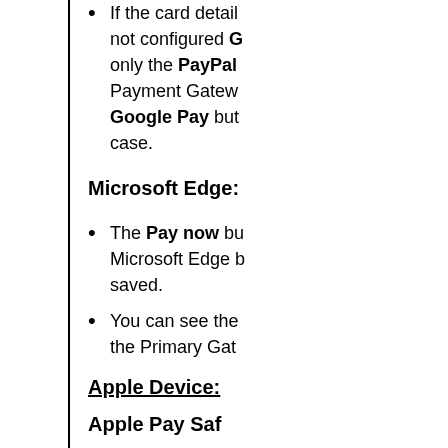If the card details are not configured Google Pay will show only the PayPal Payment Gateway and Google Pay buttons in this case.
Microsoft Edge:
The Pay now button in Microsoft Edge browser is saved.
You can see the Primary Gateway in the Primary Gat...
Apple Device:
Apple Pay Saf...